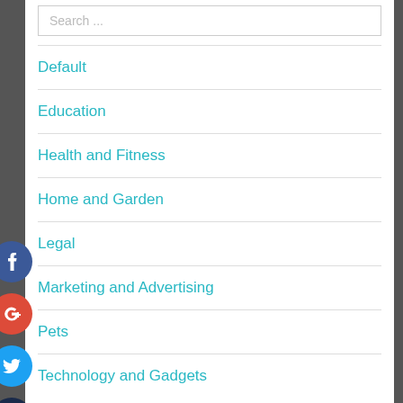Search ...
Default
Education
Health and Fitness
Home and Garden
Legal
Marketing and Advertising
Pets
Technology and Gadgets
[Figure (infographic): Social sharing icons: Facebook (blue circle with f), Google+ (red circle with g+), Twitter (blue circle with bird), plus button (dark navy circle with +)]